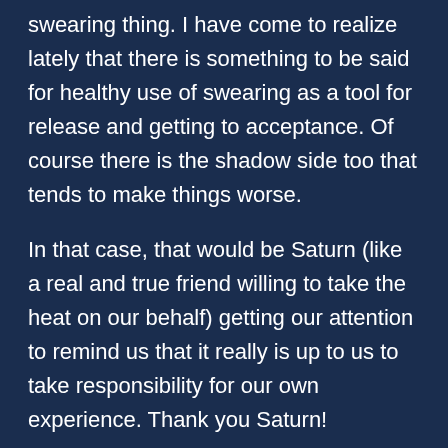swearing thing. I have come to realize lately that there is something to be said for healthy use of swearing as a tool for release and getting to acceptance. Of course there is the shadow side too that tends to make things worse.

In that case, that would be Saturn (like a real and true friend willing to take the heat on our behalf) getting our attention to remind us that it really is up to us to take responsibility for our own experience. Thank you Saturn!